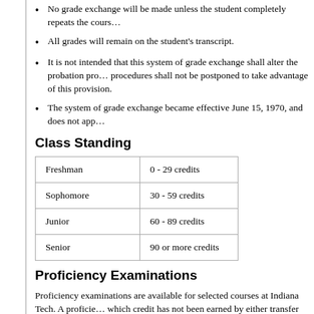No grade exchange will be made unless the student completely repeats the course.
All grades will remain on the student's transcript.
It is not intended that this system of grade exchange shall alter the probation procedures shall not be postponed to take advantage of this provision.
The system of grade exchange became effective June 15, 1970, and does not apply…
Class Standing
| Freshman | 0 - 29 credits |
| Sophomore | 30 - 59 credits |
| Junior | 60 - 89 credits |
| Senior | 90 or more credits |
Proficiency Examinations
Proficiency examinations are available for selected courses at Indiana Tech. A proficiency exam may be taken for a course in which credit has not been earned by either transfer credit or attendance in a class at Indiana Tech. A student may not take a proficiency exam for a course for which a grade has been issued at Indiana Tech or a course that has been audited. Proficiency exams are graded on a pass/fail grade. If a student fails a proficiency exam, he or she may not retake the exam. Students should check with his or her advisor or dean for a list of available exams.
Students may have exams credited through the College Level Examination…